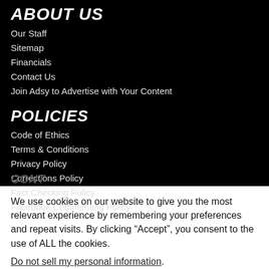ABOUT US
Our Staff
Sitemap
Financials
Contact Us
Join Adsy to Advertise with Your Content
POLICIES
Code of Ethics
Terms & Conditions
Privacy Policy
Corrections Policy
Fact Checking Policy
Facebook Commenting Policy
We use cookies on our website to give you the most relevant experience by remembering your preferences and repeat visits. By clicking “Accept”, you consent to the use of ALL the cookies.
Do not sell my personal information.
Cookie settings
ACCEPT